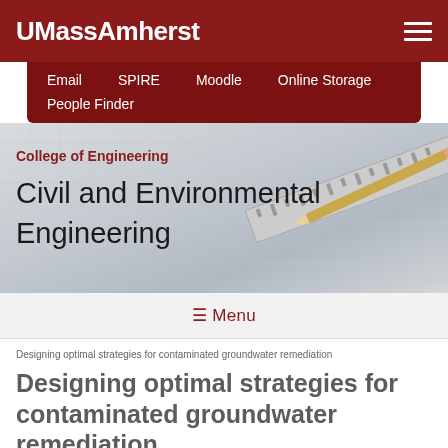UMassAmherst
Email    SPIRE    Moodle    Online Storage    People Finder
[Figure (screenshot): Hero image with blueprint/engineering drawing background showing ruler and pencil, with College of Engineering and Civil and Environmental Engineering text overlay]
☰ Menu
Designing optimal strategies for contaminated groundwater remediation
Designing optimal strategies for contaminated groundwater remediation